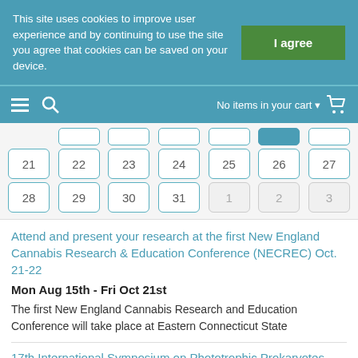This site uses cookies to improve user experience and by continuing to use the site you agree that cookies can be saved on your device.
No items in your cart
[Figure (screenshot): Website navigation bar with hamburger menu, search icon, and shopping cart]
|  | 22 | 23 | 24 | 25 | 26 | 27 |
| 28 | 29 | 30 | 31 | 1 | 2 | 3 |
Attend and present your research at the first New England Cannabis Research & Education Conference (NECREC) Oct. 21-22
Mon Aug 15th - Fri Oct 21st
The first New England Cannabis Research and Education Conference will take place at Eastern Connecticut State
17th International Symposium on Phototrophic Prokaryotes